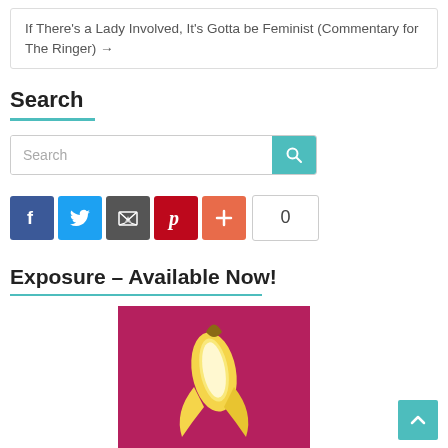If There's a Lady Involved, It's Gotta be Feminist (Commentary for The Ringer) →
Search
[Figure (other): Search bar with teal search button containing magnifying glass icon]
[Figure (other): Social sharing buttons: Facebook (blue), Twitter (light blue), Email (dark gray), Pinterest (red), plus button (orange-red), and a count box showing 0]
Exposure – Available Now!
[Figure (illustration): Book cover image showing a peeled banana on a magenta/dark pink background]